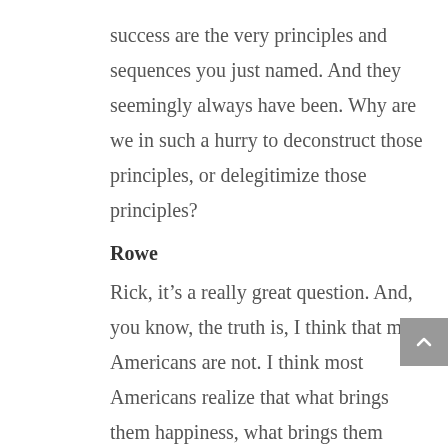success are the very principles and sequences you just named. And they seemingly always have been. Why are we in such a hurry to deconstruct those principles, or delegitimize those principles?
Rowe
Rick, it’s a really great question. And, you know, the truth is, I think that most Americans are not. I think most Americans realize that what brings them happiness, what brings them comfort, what brings them, frankly, economic success starts with your own family, starts with probably a faith